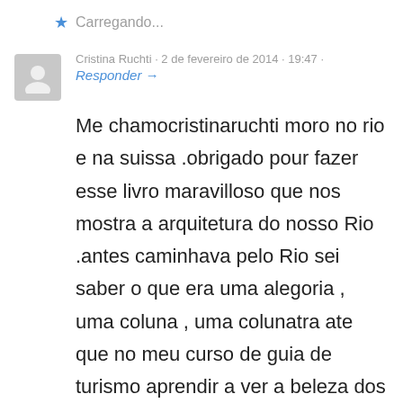Carregando...
Cristina Ruchti · 2 de fevereiro de 2014 · 19:47 · Responder →
Me chamocristinaruchti moro no rio e na suissa .obrigado pour fazer esse livro maravilloso que nos mostra a arquitetura do nosso Rio .antes caminhava pelo Rio sei saber o que era uma alegoria , uma coluna , uma colunatra ate que no meu curso de guia de turismo aprendir a ver a beleza dos predios e casa do século passado .Agradesço au professor Ruberli Angelo pour me mostrar o mundo da